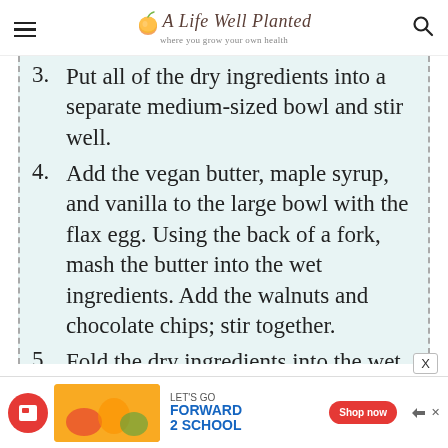A Life Well Planted — where you grow your own health
3. Put all of the dry ingredients into a separate medium-sized bowl and stir well.
4. Add the vegan butter, maple syrup, and vanilla to the large bowl with the flax egg. Using the back of a fork, mash the butter into the wet ingredients. Add the walnuts and chocolate chips; stir together.
5. Fold the dry ingredients into the wet ingredients.
[Figure (screenshot): Advertisement banner: Let's Go Forward 2 School with Shop now button]